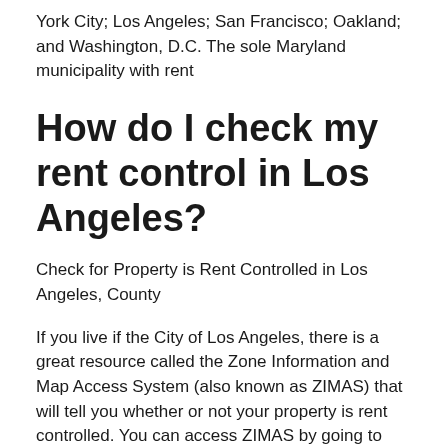York City; Los Angeles; San Francisco; Oakland; and Washington, D.C. The sole Maryland municipality with rent
How do I check my rent control in Los Angeles?
Check for Property is Rent Controlled in Los Angeles, County
If you live if the City of Los Angeles, there is a great resource called the Zone Information and Map Access System (also known as ZIMAS) that will tell you whether or not your property is rent controlled. You can access ZIMAS by going to zimas.lacity.org.